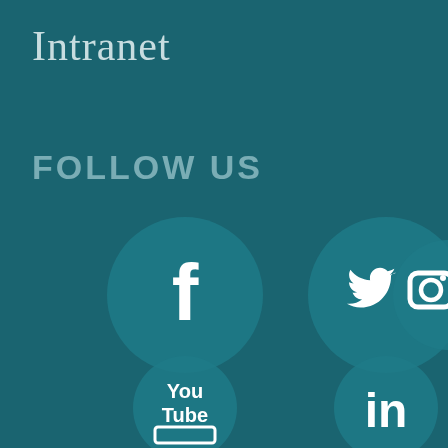Intranet
FOLLOW US
[Figure (infographic): Social media icons arranged in a grid: Facebook (f), Twitter (bird), Instagram (camera outline), YouTube (You Tube), LinkedIn (in) — all displayed as white icons inside teal circles on a dark teal background.]